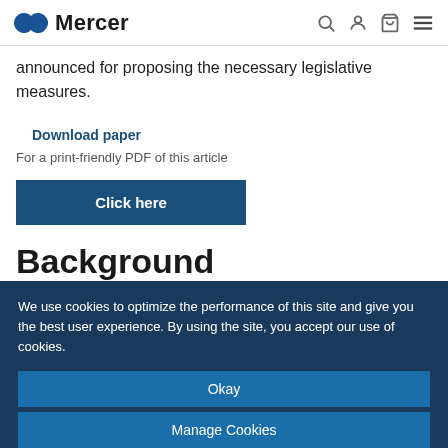Mercer [navigation bar with search, user, cart, and menu icons]
announced for proposing the necessary legislative measures.
Download paper
For a print-friendly PDF of this article
Click here
Background
We use cookies to optimize the performance of this site and give you the best user experience. By using the site, you accept our use of cookies.
Okay
Manage Cookies